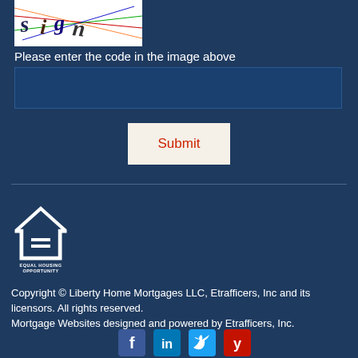[Figure (other): CAPTCHA image with distorted text code on white background with colorful lines]
Please enter the code in the image above
[Figure (other): Text input field for CAPTCHA code entry]
[Figure (other): Submit button with red text on light background]
[Figure (logo): Equal Housing Opportunity logo — house outline with equals sign]
Copyright © Liberty Home Mortgages LLC, Etrafficers, Inc and its licensors. All rights reserved.
Mortgage Websites designed and powered by Etrafficers, Inc.
[Figure (other): Social media icons row: Facebook, LinkedIn, Twitter, Yelp]